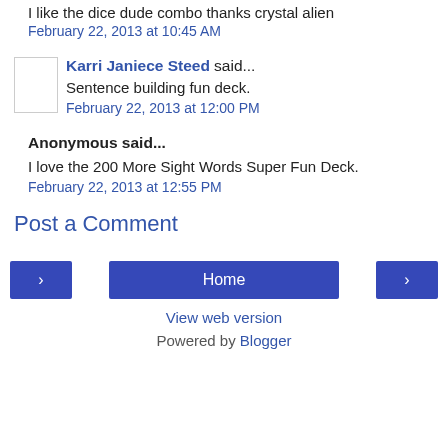I like the dice dude combo thanks crystal alien
February 22, 2013 at 10:45 AM
Karri Janiece Steed said...
Sentence building fun deck.
February 22, 2013 at 12:00 PM
Anonymous said...
I love the 200 More Sight Words Super Fun Deck.
February 22, 2013 at 12:55 PM
Post a Comment
Home | View web version | Powered by Blogger